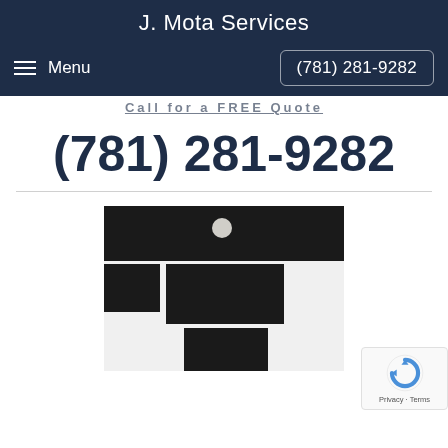J. Mota Services
Menu  (781) 281-9282
Call for a FREE Quote
(781) 281-9282
[Figure (photo): Interior room photo showing white built-in shelving/cabinet unit with dark navy/black panel inserts, electrical outlet visible, white ceiling with circular light fixture above.]